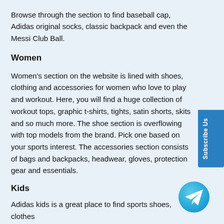Browse through the section to find baseball cap, Adidas original socks, classic backpack and even the Messi Club Ball.
Women
Women's section on the website is lined with shoes, clothing and accessories for women who love to play and workout. Here, you will find a huge collection of workout tops, graphic t-shirts, tights, satin shorts, skits and so much more. The shoe section is overflowing with top models from the brand. Pick one based on your sports interest. The accessories section consists of bags and backpacks, headwear, gloves, protection gear and essentials.
Kids
Adidas kids is a great place to find sports shoes, clothes
[Figure (illustration): Cyan/teal Telegram messenger circular icon button with white paper plane symbol]